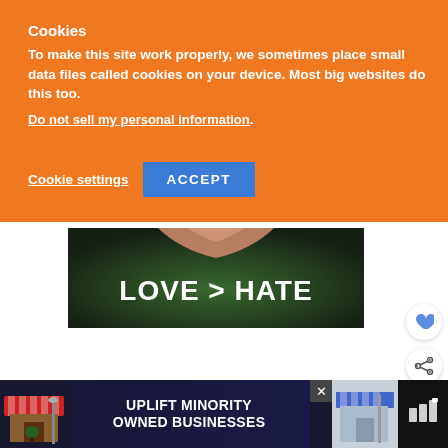Cookies
To make this site work properly, we sometimes place small data files called cookies on your device. Most big websites do this too.
Do not sell my personal information.
Cookie settings  ACCEPT
[Figure (photo): Photo of hands forming a heart shape over a dark green background with text LOVE > HATE in large white bold letters]
[Figure (infographic): Advertisement banner: UPLIFT MINORITY OWNED BUSINESSES with illustrated storefront graphics on dark background]